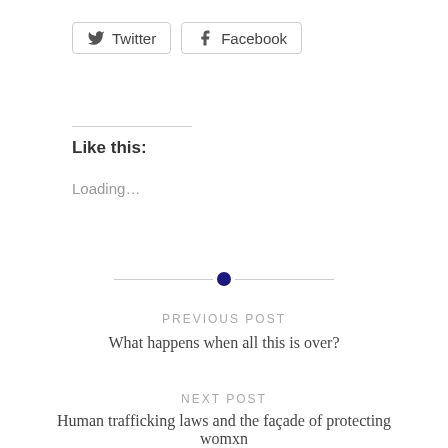Twitter | Facebook (social share buttons)
Like this:
Loading...
PREVIOUS POST
What happens when all this is over?
NEXT POST
Human trafficking laws and the façade of protecting womxn